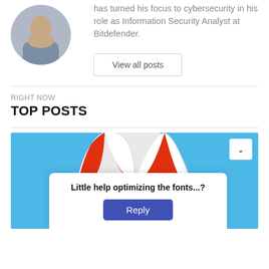[Figure (photo): Circular avatar photo of a person with arms crossed]
has turned his focus to cybersecurity in his role as Information Security Analyst at Bitdefender.
View all posts
RIGHT NOW
TOP POSTS
[Figure (screenshot): Screenshot of a blog card with an umbrella mascot on a blue background, a white popup overlay asking 'Little help optimizing the fonts...?' with a Reply button]